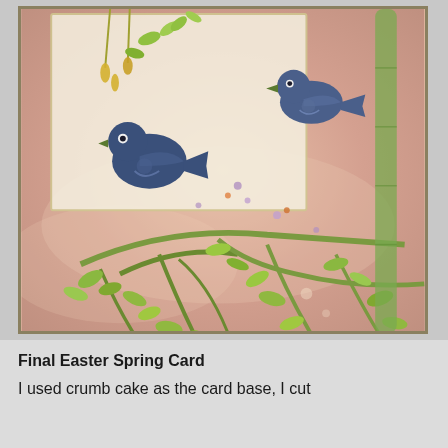[Figure (photo): A handmade Easter spring greeting card featuring two dark blue bird die-cuts perched on green leafy branches with small purple and orange flower accents. The background is a soft peachy-pink watercolor wash. The card has a light cream/tan inner frame and is mounted on an olive/khaki colored card base.]
Final Easter Spring Card
I used crumb cake as the card base, I cut